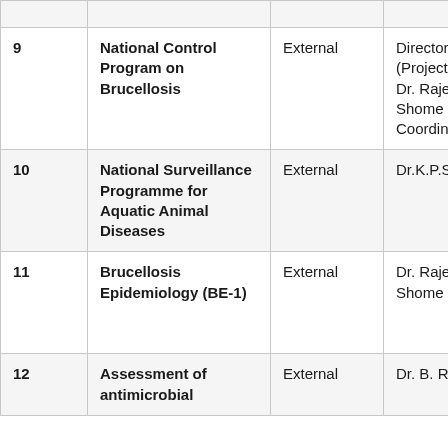| No. | Project Name | Type | PI / Coordinator | Duration |
| --- | --- | --- | --- | --- |
| 9 | National Control Program on Brucellosis | External | Director-NIVEDI (Project Leader) Dr. Rajeswari Shome (Project Coordinator) | Febr 201… Febr 201… |
| 10 | National Surveillance Programme for Aquatic Animal Diseases | External | Dr.K.P.Suresh | Oct 201… Mar… |
| 11 | Brucellosis Epidemiology (BE-1) | External | Dr. Rajeswari Shome | Oct 201… Sep 201… |
| 12 | Assessment of antimicrobial | External | Dr. B. R. Shome | Janu 201… |